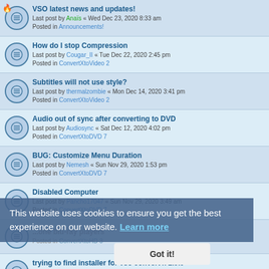VSO latest news and updates! — Last post by Anaïs « Wed Dec 23, 2020 8:33 am — Posted in Announcements!
How do I stop Compression — Last post by Cougar_II « Tue Dec 22, 2020 2:45 pm — Posted in ConvertXtoVideo 2
Subtitles will not use style? — Last post by thermalzombie « Mon Dec 14, 2020 3:41 pm — Posted in ConvertXtoVideo 2
Audio out of sync after converting to DVD — Last post by Audiosync « Sat Dec 12, 2020 4:02 pm — Posted in ConvertXtoDVD 7
BUG: Customize Menu Duration — Last post by Nemesh « Sun Nov 29, 2020 1:53 pm — Posted in ConvertXtoDVD 7
Disabled Computer — Last post by Pancho17047 « Sun Nov 29, 2020 3:49 am — Posted in ConvertXtoDVD 7
...one blu-ray players — Posted in ConvertXtoHD 3
trying to find installer for vso convert x 2.9.9 — Last post by darkknight « Sat Nov 21, 2020 12:09 am — Posted in ConvertXtoVideo 2
VSO & 3G Modem HSDPA
This website uses cookies to ensure you get the best experience on our website. Learn more
Got it!